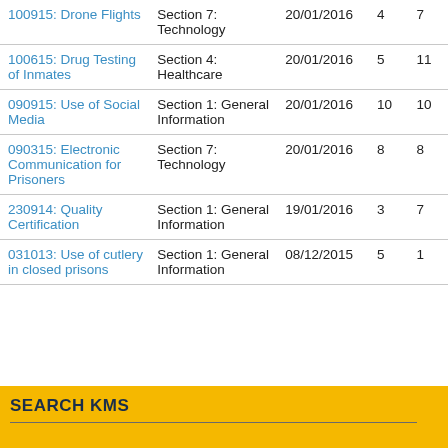|  |  | Date |  |  |
| --- | --- | --- | --- | --- |
| 100915: Drone Flights | Section 7: Technology | 20/01/2016 | 4 | 7 |
| 100615: Drug Testing of Inmates | Section 4: Healthcare | 20/01/2016 | 5 | 11 |
| 090915: Use of Social Media | Section 1: General Information | 20/01/2016 | 10 | 10 |
| 090315: Electronic Communication for Prisoners | Section 7: Technology | 20/01/2016 | 8 | 8 |
| 230914: Quality Certification | Section 1: General Information | 19/01/2016 | 3 | 7 |
| 031013: Use of cutlery in closed prisons | Section 1: General Information | 08/12/2015 | 5 | 1 |
SEARCH KMS